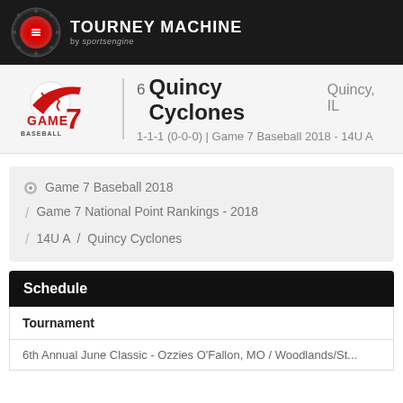TOURNEY MACHINE by sportsengine
6 Quincy Cyclones Quincy, IL
1-1-1 (0-0-0) | Game 7 Baseball 2018 - 14U A
Game 7 Baseball 2018 / Game 7 National Point Rankings - 2018 / 14U A / Quincy Cyclones
Schedule
| Tournament |
| --- |
| 6th Annual June Classic - Ozzies O'Fallon, MO / Woodlands/St... |